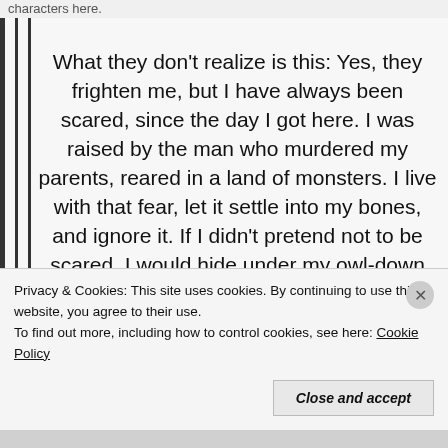characters here.
What they don't realize is this: Yes, they frighten me, but I have always been scared, since the day I got here. I was raised by the man who murdered my parents, reared in a land of monsters. I live with that fear, let it settle into my bones, and ignore it. If I didn't pretend not to be scared, I would hide under my owl-down coverlets in Madoc's estate forever I would lie there and scream until
Privacy & Cookies: This site uses cookies. By continuing to use this website, you agree to their use.
To find out more, including how to control cookies, see here: Cookie Policy
Close and accept